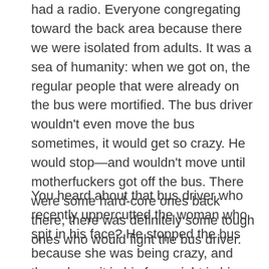had a radio. Everyone congregating toward the back area because there we were isolated from adults. It was a sea of humanity: when we got on, the regular people that were already on the bus were mortified. The bus driver wouldn't even move the bus sometimes, it would get so crazy. He would stop—and wouldn't move until motherfuckers got off the bus. There were some hard-core ones back there, there was definitely some tough ones who would fight the bus driver.
You heard about that bus driver who recently uppercutted the woman who spit in his face? He stopped the bus because she was being crazy, and then she spit in his face, right in his face. So he literally knocked her off the bus. A spit in the face, you'd kind forget that, point is, you'd...